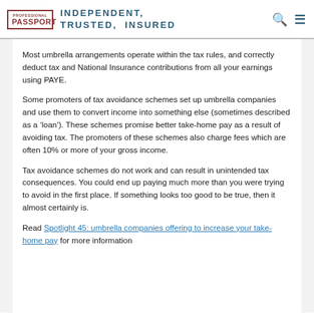PROFESSIONAL PASSPORT | INDEPENDENT, TRUSTED, INSURED
Most umbrella arrangements operate within the tax rules, and correctly deduct tax and National Insurance contributions from all your earnings using PAYE.
Some promoters of tax avoidance schemes set up umbrella companies and use them to convert income into something else (sometimes described as a ‘loan’). These schemes promise better take-home pay as a result of avoiding tax. The promoters of these schemes also charge fees which are often 10% or more of your gross income.
Tax avoidance schemes do not work and can result in unintended tax consequences. You could end up paying much more than you were trying to avoid in the first place. If something looks too good to be true, then it almost certainly is.
Read Spotlight 45: umbrella companies offering to increase your take-home pay for more information